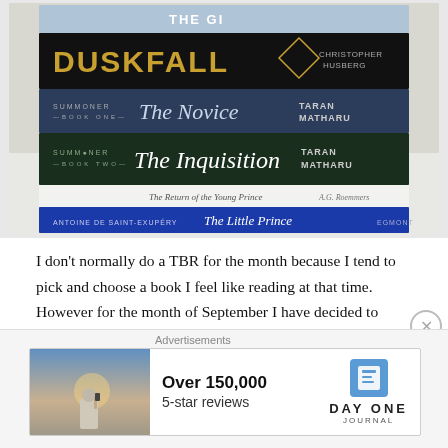[Figure (photo): A stack of books photographed from above showing spines: Duskfall by Christopher Husberg (black cover), The Novice (Summoner Book One) by Taran Matharu (dark blue), The Inquisition (Summoner Book Two) by Taran Matharu (dark green), The Return of the Young Prince by A.G. Roemmers (white), The Little Prince by Antoine de Saint-Exupéry (blue, Egmont)]
I don't normally do a TBR for the month because I tend to pick and choose a book I feel like reading at that time. However for the month of September I have decided to dedicate the whole month to reading
Advertisements
[Figure (infographic): Advertisement for Day One Journal app showing a person photographing a landscape with text: Over 150,000 5-star reviews, DAY ONE JOURNAL logo]